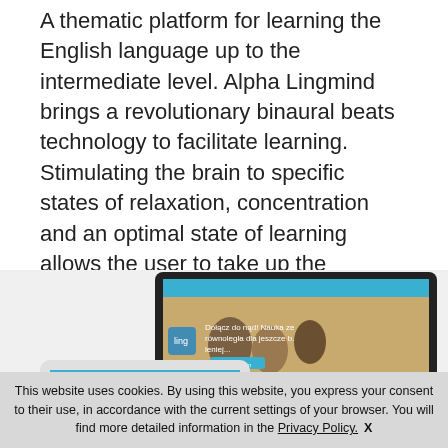A thematic platform for learning the English language up to the intermediate level. Alpha Lingmind brings a revolutionary binaural beats technology to facilitate learning. Stimulating the brain to specific states of relaxation, concentration and an optimal state of learning allows the user to take up the language efficiently.
[Figure (screenshot): Screenshot of the Alpha Lingmind website displayed on a laptop, tablet, and smartphone showing the platform interface with a hero image of smiling people and Polish-language navigation.]
This website uses cookies. By using this website, you express your consent to their use, in accordance with the current settings of your browser. You will find more detailed information in the Privacy Policy.  X